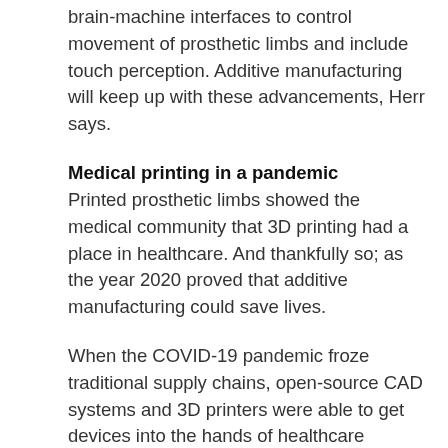brain-machine interfaces to control movement of prosthetic limbs and include touch perception. Additive manufacturing will keep up with these advancements, Herr says.
Medical printing in a pandemic
Printed prosthetic limbs showed the medical community that 3D printing had a place in healthcare. And thankfully so; as the year 2020 proved that additive manufacturing could save lives.
When the COVID-19 pandemic froze traditional supply chains, open-source CAD systems and 3D printers were able to get devices into the hands of healthcare providers who faced shortages in medical and testing equipment and in protective gear, says Aamir Nazir, a researcher at the National Taiwan University of Science and Technology's High